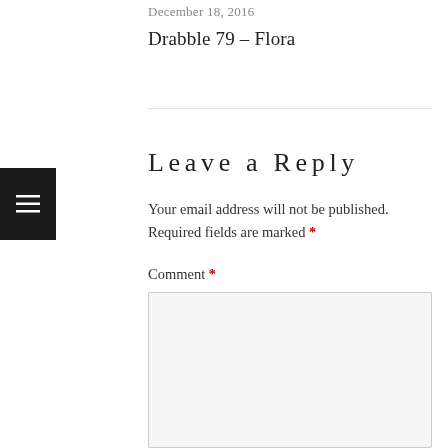December 18, 2016
Drabble 79 – Flora
Leave a Reply
Your email address will not be published. Required fields are marked *
Comment *